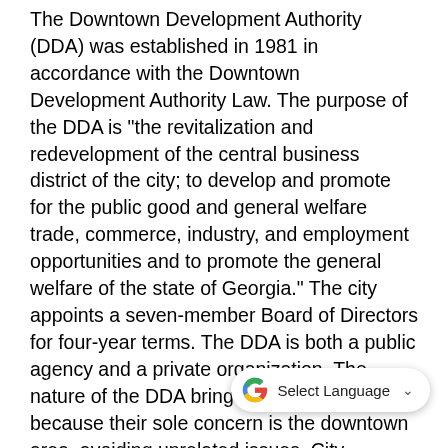The Downtown Development Authority (DDA) was established in 1981 in accordance with the Downtown Development Authority Law. The purpose of the DDA is "the revitalization and redevelopment of the central business district of the city; to develop and promote for the public good and general welfare trade, commerce, industry, and employment opportunities and to promote the general welfare of the state of Georgia." The city appoints a seven-member Board of Directors for four-year terms. The DDA is both a public agency and a private organization. The nature of the DDA brings advantages because their sole concern is the downtown area, avoiding unrelated issues. City officials, businesses, and civic leaders cannot do this because downtown is only one area of concern. The DDA powers include: to purchase and own property; to lease or rent; to finance projects; to receive government grants or loans; to execute contracts; to finance projects; and to receive tax [overlay] is primarily a policy and decision-making body and may